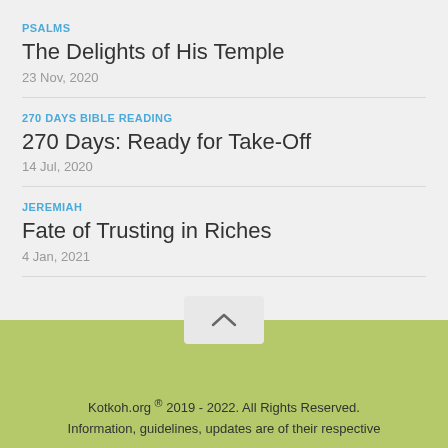PSALMS
The Delights of His Temple
23 Nov, 2020
270 DAYS BIBLE READING
270 Days: Ready for Take-Off
14 Jul, 2020
JEREMIAH
Fate of Trusting in Riches
4 Jan, 2021
Kotkoh.org ® 2019 - 2022. All Rights Reserved. Information, guidelines, updates are of their respective